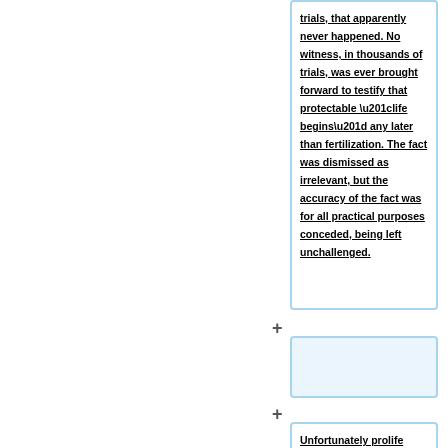trials, that apparently never happened. No witness, in thousands of trials, was ever brought forward to testify that protectable “life begins” any later than fertilization. The fact was dismissed as irrelevant, but the accuracy of the fact was for all practical purposes conceded, being left unchallenged.
Unfortunately prolife litigants have not cited this overwhelming evidence in court. Some litigants cite the expertise of new authorities that have not yet been tested in court, but not the tested